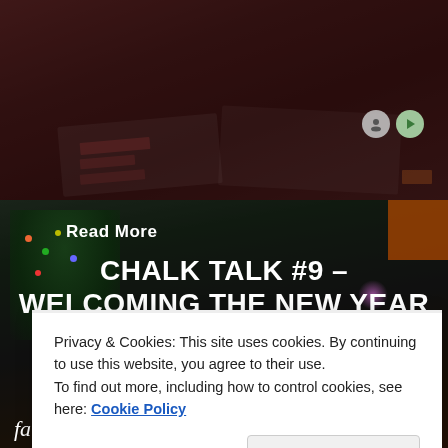[Figure (photo): Darkened photo of people studying with open books/documents on a table, top portion of page]
Read More
[Figure (photo): Darkened photo of a person near a Christmas tree with holiday decorations, bottom background image]
CHALK TALK #9 – WELCOMING THE NEW YEAR
Privacy & Cookies: This site uses cookies. By continuing to use this website, you agree to their use.
To find out more, including how to control cookies, see here: Cookie Policy
Close and accept
father for the first time. Being able to watch my